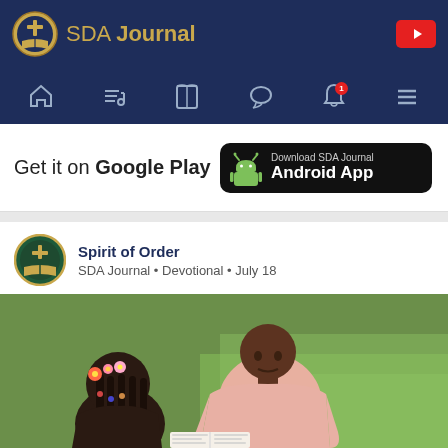SDA Journal
[Figure (screenshot): Navigation bar with home, playlist, book, chat, bell (1 notification), and menu icons on dark blue background]
Get it on Google Play
[Figure (infographic): Download SDA Journal Android App button on black rounded rectangle with Android robot icon]
Spirit of Order
SDA Journal • Devotional • July 18
[Figure (photo): A man in a pink shirt reading with a young girl with braided hair and flowers, outdoors on green grass]